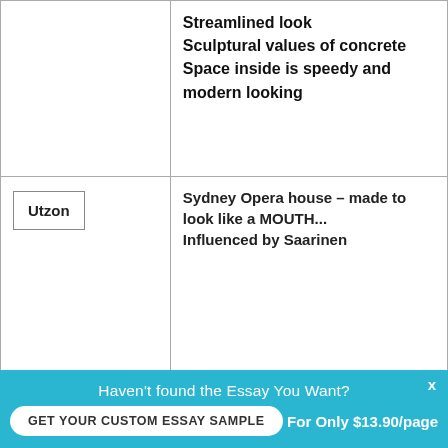| Architect | Details |
| --- | --- |
|  | Streamlined look
Sculptural values of concrete
Space inside is speedy and modern looking |
| Utzon | Sydney Opera house – made to look like a MOUTH...
Influenced by Saarinen |
| Le Corbusier | L'Unite D'Habitation
High density housing |
Haven't found the Essay You Want?
GET YOUR CUSTOM ESSAY SAMPLE
For Only $13.90/page